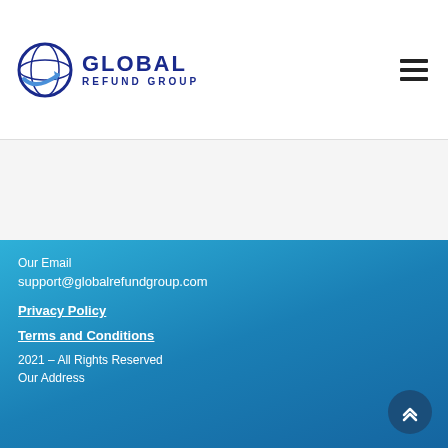[Figure (logo): Global Refund Group logo with globe icon and blue text reading GLOBAL REFUND GROUP]
Our Email
support@globalrefundgroup.com
Privacy Policy
Terms and Conditions
2021 – All Rights Reserved
Our Address